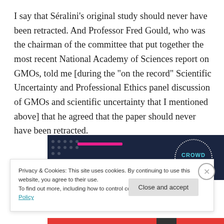I say that Séralini's original study should never have been retracted. And Professor Fred Gould, who was the chairman of the committee that put together the most recent National Academy of Sciences report on GMOs, told me [during the "on the record" Scientific Uncertainty and Professional Ethics panel discussion of GMOs and scientific uncertainty that I mentioned above] that he agreed that the paper should never have been retracted.
[Figure (screenshot): Partial banner image with dark navy background showing dots pattern and a dotted circle with 'CROWD' text in cyan]
Privacy & Cookies: This site uses cookies. By continuing to use this website, you agree to their use.
To find out more, including how to control cookies, see here: Cookie Policy